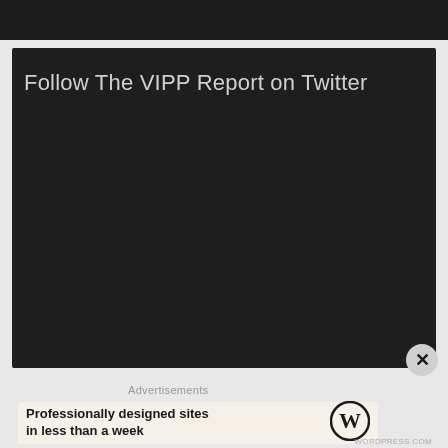[Figure (screenshot): Dark top navigation bar of a website]
Follow The VIPP Report on Twitter
[Figure (screenshot): Dark panel area for embedded Twitter widget]
Advertisements
[Figure (screenshot): WordPress advertisement banner: Professionally designed sites in less than a week]
WORDPRESS.COM